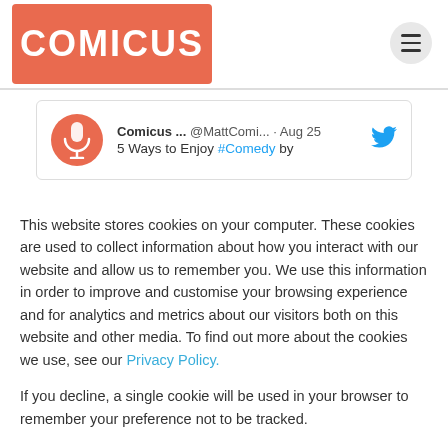[Figure (logo): Comicus logo — white text on coral/orange rectangle]
[Figure (screenshot): Tweet preview: Comicus @MattComi... · Aug 25 — 5 Ways to Enjoy #Comedy by ...]
This website stores cookies on your computer. These cookies are used to collect information about how you interact with our website and allow us to remember you. We use this information in order to improve and customise your browsing experience and for analytics and metrics about our visitors both on this website and other media. To find out more about the cookies we use, see our Privacy Policy.
If you decline, a single cookie will be used in your browser to remember your preference not to be tracked.